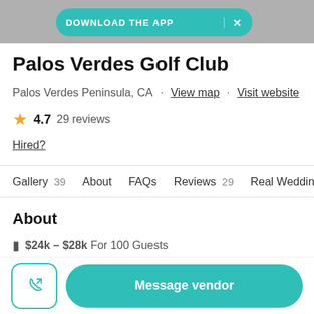[Figure (photo): Top photo bar showing venue/event photography]
DOWNLOAD THE APP  ×
Palos Verdes Golf Club
Palos Verdes Peninsula, CA · View map · Visit website
★ 4.7  29 reviews
Hired?
Gallery 39   About   FAQs   Reviews 29   Real Weddin
About
$24k – $28k For 100 Guests
Message vendor